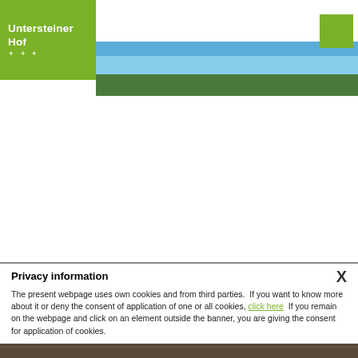[Figure (logo): Untersteiner Hof logo with green background, white text and star symbols]
[Figure (photo): Outdoor photo with blue sky and green trees/landscape]
[Figure (other): Green square button in top right corner]
Privacy information
The present webpage uses own cookies and from third parties.  If you want to know more about it or deny the consent of application of one or all cookies, click here  If you remain on the webpage and click on an element outside the banner, you are giving the consent for application of cookies.